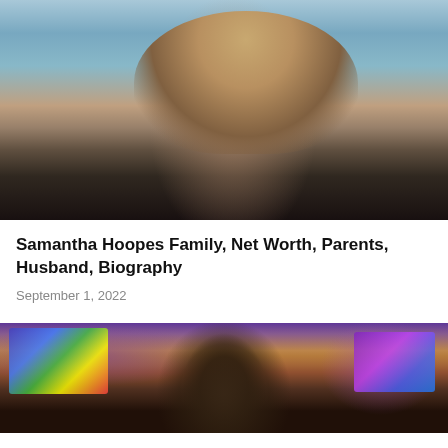[Figure (photo): Woman with long blonde hair wearing a dark swimsuit, standing near the ocean on a beach. Blue sky and water visible in background.]
Samantha Hoopes Family, Net Worth, Parents, Husband, Biography
September 1, 2022
[Figure (photo): Man in a studio setting with colorful TV screens visible in background, partial view of face showing eyes.]